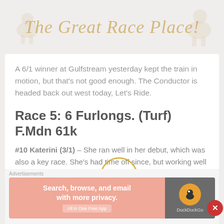The Great Race Place!
A 6/1 winner at Gulfstream yesterday kept the train in motion, but that's not good enough. The Conductor is headed back out west today, Let's Ride.
Race 5: 6 Furlongs. (Turf) F.Mdn 61k
#10 Katerini (3/1) – She ran well in her debut, which was also a key race. She's had time off since, but working well and adding blinkers and Lasix for the first time.
Race 6: 1 1/16 Mile. OC 62500n2x
Advertisements